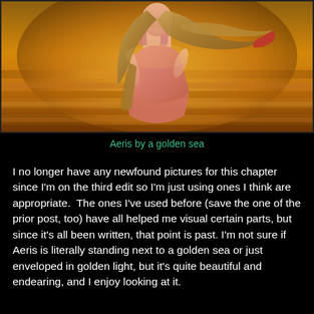[Figure (illustration): Anime illustration of a young woman (Aeris) with long flowing hair, wearing a pink dress, standing against a golden glowing background that resembles a golden sea or golden light. The scene is warm-toned with amber and gold colors.]
Aeris by a golden sea
I no longer have any newfound pictures for this chapter since I'm on the third edit so I'm just using ones I think are appropriate.  The ones I've used before (save the one of the prior post, too) have all helped me visual certain parts, but since it's all been written, that point is past. I'm not sure if Aeris is literally standing next to a golden sea or just enveloped in golden light, but it's quite beautiful and endearing, and I enjoy looking at it.